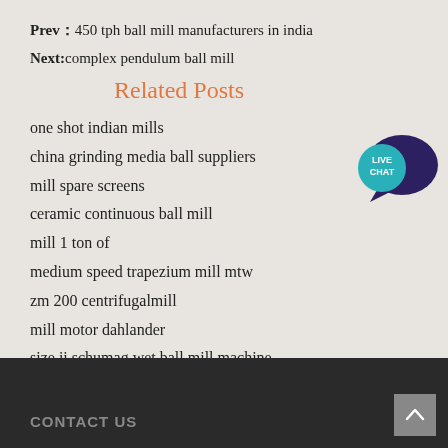Prev：450 tph ball mill manufacturers in india
Next:complex pendulum ball mill
Related Posts
[Figure (illustration): Live Chat speech bubble widget icon with teal/dark blue colors]
one shot indian mills
china grinding media ball suppliers
mill spare screens
ceramic continuous ball mill
mill 1 ton of
medium speed trapezium mill mtw
zm 200 centrifugalmill
mill motor dahlander
size ii schumag wet ball mill machine
crusher and grinding machinery
CONTACT US